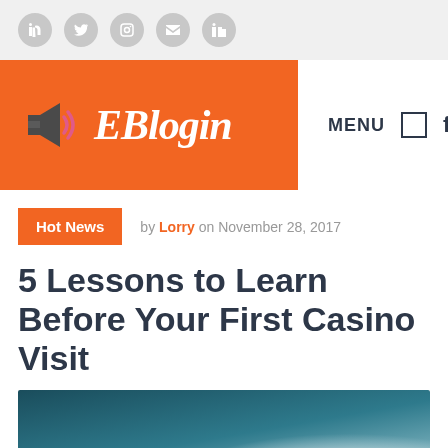[Social media icon bar with 5 circular icons]
[Figure (logo): EBlogin logo: orange rectangle background with megaphone icon and cursive white text 'EBlogin']
MENU
by Lorry on November 28, 2017
5 Lessons to Learn Before Your First Casino Visit
[Figure (photo): Blurred photo showing casino chips or cards on a dark teal/green background]